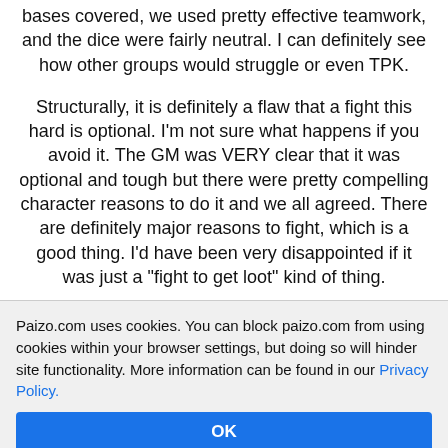bases covered, we used pretty effective teamwork, and the dice were fairly neutral. I can definitely see how other groups would struggle or even TPK.
Structurally, it is definitely a flaw that a fight this hard is optional. I'm not sure what happens if you avoid it. The GM was VERY clear that it was optional and tough but there were pretty compelling character reasons to do it and we all agreed. There are definitely major reasons to fight, which is a good thing. I'd have been very disappointed if it was just a "fight to get loot" kind of thing.
On the other hand, when it works it REALLY works. We chose to fight, we had a fun but tough fight, and we get that lovely feeling you get for taking the harder path and overcoming the challenges, for acting like heros and
Paizo.com uses cookies. You can block paizo.com from using cookies within your browser settings, but doing so will hinder site functionality. More information can be found in our Privacy Policy.